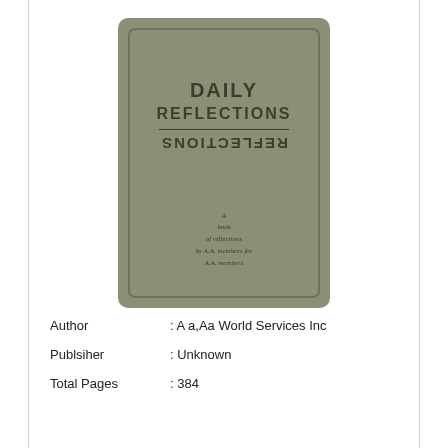[Figure (illustration): Book cover of 'Daily Reflections' with olive/gray-green color, showing the title 'DAILY REFLECTIONS' and a mirrored reflection of 'REFLECTIONS' below a dividing line, and subtitle text 'A book of reflections by A.A. members for A.A. members' at the bottom.]
Author : A a,Aa World Services Inc
Publsiher : Unknown
Total Pages : 384